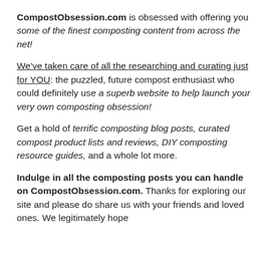CompostObsession.com is obsessed with offering you some of the finest composting content from across the net!
We've taken care of all the researching and curating just for YOU: the puzzled, future compost enthusiast who could definitely use a superb website to help launch your very own composting obsession!
Get a hold of terrific composting blog posts, curated compost product lists and reviews, DIY composting resource guides, and a whole lot more.
Indulge in all the composting posts you can handle on CompostObsession.com. Thanks for exploring our site and please do share us with your friends and loved ones. We legitimately hope...